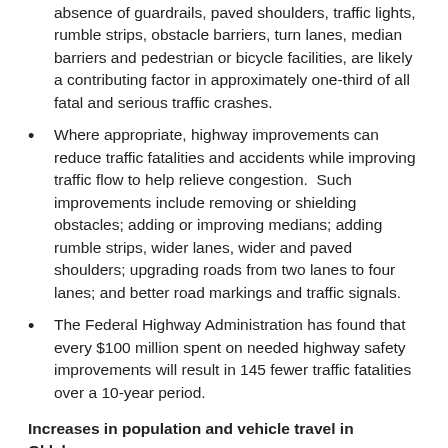absence of guardrails, paved shoulders, traffic lights, rumble strips, obstacle barriers, turn lanes, median barriers and pedestrian or bicycle facilities, are likely a contributing factor in approximately one-third of all fatal and serious traffic crashes.
Where appropriate, highway improvements can reduce traffic fatalities and accidents while improving traffic flow to help relieve congestion. Such improvements include removing or shielding obstacles; adding or improving medians; adding rumble strips, wider lanes, wider and paved shoulders; upgrading roads from two lanes to four lanes; and better road markings and traffic signals.
The Federal Highway Administration has found that every $100 million spent on needed highway safety improvements will result in 145 fewer traffic fatalities over a 10-year period.
Increases in population and vehicle travel in Oklahoma